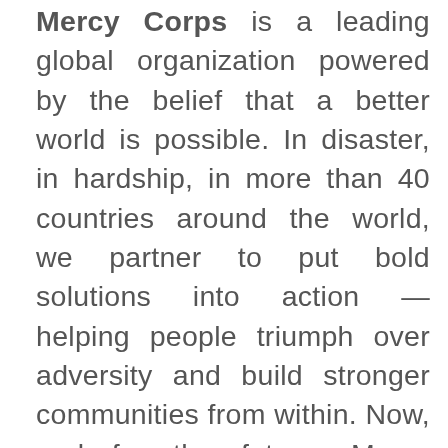Mercy Corps is a leading global organization powered by the belief that a better world is possible. In disaster, in hardship, in more than 40 countries around the world, we partner to put bold solutions into action — helping people triumph over adversity and build stronger communities from within. Now, and for the future. Mercy Corps has been operating in Nepal since 2005, implementing programs in food security, agriculture, market development, financial services, girl's education, climate change adaptation and disaster risk reduction. We take a systems-based approach in our programming, with the aim of improving the lives and potential of vulnerable individuals and communities